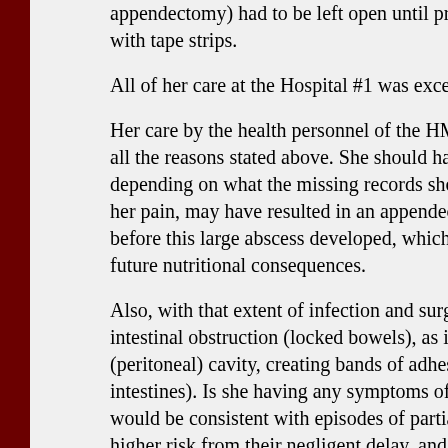appendectomy) had to be left open until prior to closure with tape strips.
All of her care at the Hospital #1 was excellent.
Her care by the health personnel of the HMO all the reasons stated above. She should have h depending on what the missing records show her pain, may have resulted in an appendect before this large abscess developed, which des future nutritional consequences.
Also, with that extent of infection and surger intestinal obstruction (locked bowels), as if so (peritoneal) cavity, creating bands of adhesi intestines). Is she having any symptoms of cra would be consistent with episodes of partial higher risk from their negligent delay, and as s her risk of complications from future surgery greater than average.
Her emotional damages from all the negligenc local Psychologist who can also administer those damages.
She should be seen by a Gastroenterologist to e
I would suggest the following Experts w